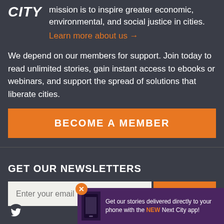[Figure (logo): Next City logo with 'CITY' text in white bold italic on dark background]
mission is to inspire greater economic, environmental, and social justice in cities. Learn more about us →
We depend on our members for support. Join today to read unlimited stories, gain instant access to ebooks or webinars, and support the spread of solutions that liberate cities.
BECOME A MEMBER
GET OUR NEWSLETTERS
Enter your email
SIGN UP
Get our stories delivered directly to your phone with the NEW Next City app!